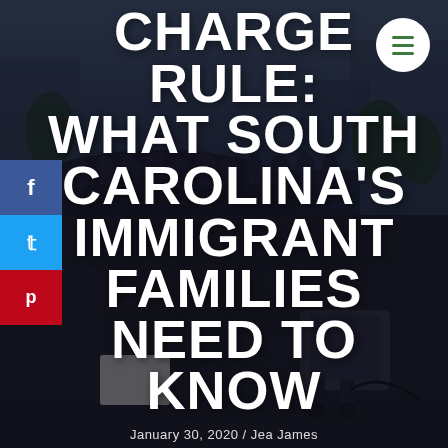[Figure (photo): Dark outdoor crowd scene at dusk, people seated/standing in a public square, with equipment visible in foreground. Used as hero image background.]
CHARGE RULE: WHAT SOUTH CAROLINA'S IMMIGRANT FAMILIES NEED TO KNOW
January 30, 2020 / Jea James